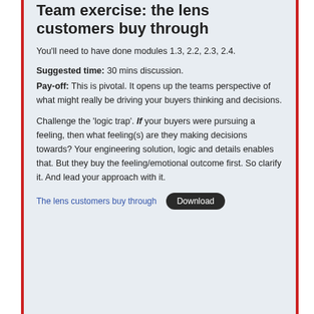Team exercise: the lens customers buy through
You'll need to have done modules 1.3, 2.2, 2.3, 2.4.
Suggested time: 30 mins discussion.
Pay-off: This is pivotal. It opens up the teams perspective of what might really be driving your buyers thinking and decisions.
Challenge the ‘logic trap’. If your buyers were pursuing a feeling, then what feeling(s) are they making decisions towards? Your engineering solution, logic and details enables that. But they buy the feeling/emotional outcome first. So clarify it. And lead your approach with it.
The lens customers buy through   Download